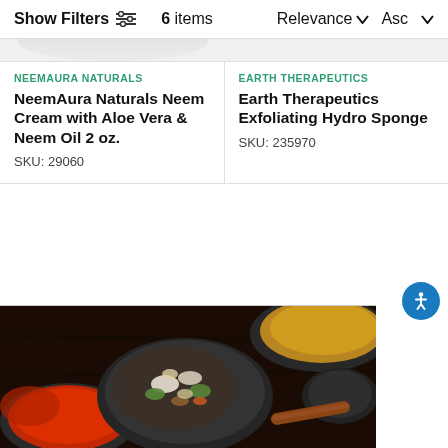Show Filters  6 items  Relevance ∨ Asc ∨
NEEMAURA NATURALS
NeemAura Naturals Neem Cream with Aloe Vera & Neem Oil 2 oz.
SKU: 29060
EARTH THERAPEUTICS
Earth Therapeutics Exfoliating Hydro Sponge
SKU: 235970
[Figure (photo): Overhead photo of multiple dark bowls/plates containing various spices including red chili powder, mixed vegetables/salad, yellow spice powder, and a cinnamon stick, on a dark wooden background.]